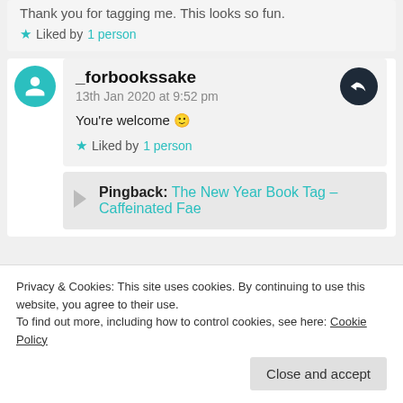Thank you for tagging me. This looks so fun.
★ Liked by 1 person
_forbookssake
13th Jan 2020 at 9:52 pm
You're welcome 🙂
★ Liked by 1 person
Pingback: The New Year Book Tag – Caffeinated Fae
Privacy & Cookies: This site uses cookies. By continuing to use this website, you agree to their use.
To find out more, including how to control cookies, see here: Cookie Policy
Close and accept